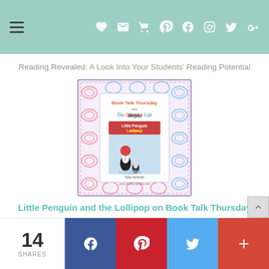Navigation bar with hamburger menu and social icons
Reading Revealed: A Look Into Your Students' Reading Potential
[Figure (illustration): Book Talk Thursday with The Literacy Life promotional image showing the book cover of 'Little Penguin and the Lollipop' featuring two penguins, surrounded by a decorative border with swirl patterns in pink and blue. Website URL: www.theliteracylife.com]
Little Penguin and the Lollipop on Book Talk Thursday
[Figure (photo): Partial view of a thumbnail image at the bottom of the page, appears to be a dark classroom or educational setting photo]
14 SHARES | Facebook share | Pinterest share | Twitter share | Plus share